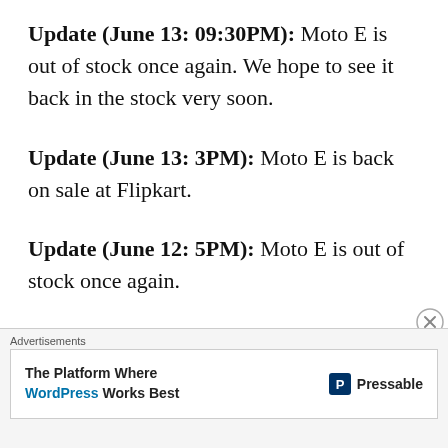Update (June 13: 09:30PM): Moto E is out of stock once again. We hope to see it back in the stock very soon.
Update (June 13: 3PM): Moto E is back on sale at Flipkart.
Update (June 12: 5PM): Moto E is out of stock once again.
Update (June 12: 12 noon): Moto E is back in stock at Flipkart. Previous stock related update
Advertisements
The Platform Where WordPress Works Best — Pressable